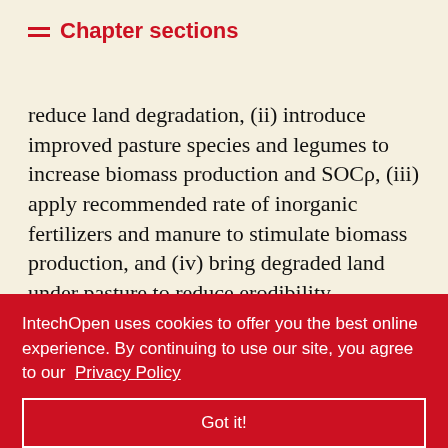Chapter sections
reduce land degradation, (ii) introduce improved pasture species and legumes to increase biomass production and SOCρ, (iii) apply recommended rate of inorganic fertilizers and manure to stimulate biomass production, and (iv) bring degraded land under pasture to reduce erodibility.
It is vital to understand the spatial pattern of livestock grazing intensity and its effects on ecosystem functions, address the range of natural ... ncourage ... cesses to ... based ... imate ... nced management options, introduction of consistent
IntechOpen uses cookies to offer you the best online experience. By continuing to use our site, you agree to our Privacy Policy
Got it!